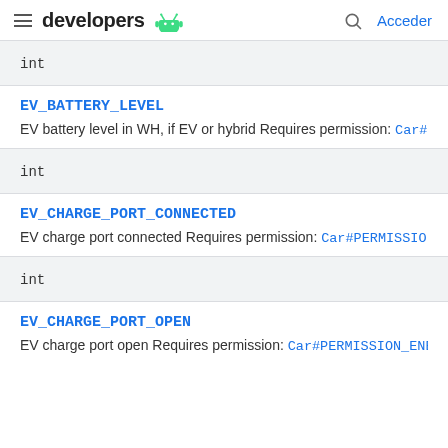developers | Acceder
int
EV_BATTERY_LEVEL
EV battery level in WH, if EV or hybrid Requires permission: Car#P
int
EV_CHARGE_PORT_CONNECTED
EV charge port connected Requires permission: Car#PERMISSIO
int
EV_CHARGE_PORT_OPEN
EV charge port open Requires permission: Car#PERMISSION_ENE